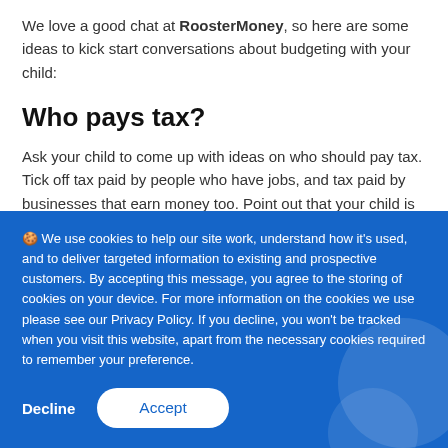We love a good chat at RoosterMoney, so here are some ideas to kick start conversations about budgeting with your child:
Who pays tax?
Ask your child to come up with ideas on who should pay tax. Tick off tax paid by people who have jobs, and tax paid by businesses that earn money too. Point out that your child is already a taxpayer. Pretty much everything they
🍪 We use cookies to help our site work, understand how it's used, and to deliver targeted information to existing and prospective customers. By accepting this message, you agree to the storing of cookies on your device. For more information on the cookies we use please see our Privacy Policy. If you decline, you won't be tracked when you visit this website, apart from the necessary cookies required to remember your preference.
Decline
Accept